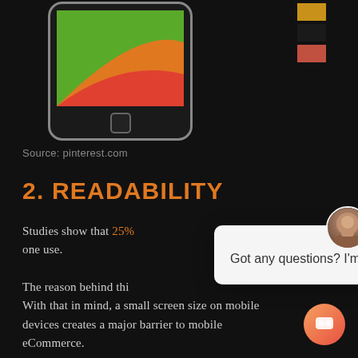[Figure (illustration): A smartphone showing a colorful app screen with green, orange, and red curved shapes, with color swatches (gold, dark, red) visible in the upper right corner.]
Source: pinterest.com
2. READABILITY
Studies show that 25% [of text cut off by overlay] one use.
The reason behind thi[s is cut off by overlay] With that in mind, a small screen size on mobile devices creates a major barrier to mobile eCommerce.
[Figure (screenshot): Chat popup overlay with avatar photo of a woman, close button (x), and message: 'Got any questions? I'm happy to help.' with chat launcher button at bottom right.]